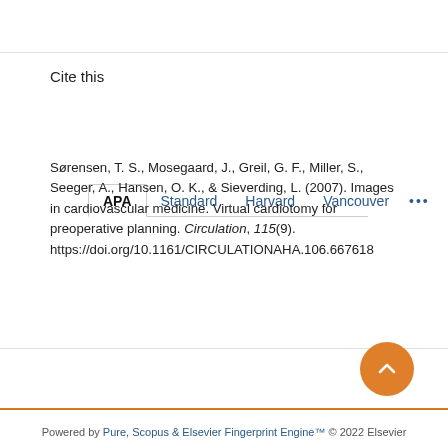Cite this
APA | Standard | Harvard | Vancouver | ...
Sørensen, T. S., Mosegaard, J., Greil, G. F., Miller, S., Seeger, A., Hansen, O. K., & Sieverding, L. (2007). Images in cardiovascular medicine. Virtual cardiotomy for preoperative planning. Circulation, 115(9). https://doi.org/10.1161/CIRCULATIONAHA.106.667618
Powered by Pure, Scopus & Elsevier Fingerprint Engine™ © 2022 Elsevier